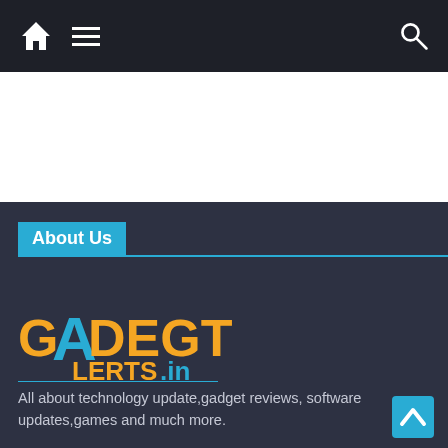Navigation bar with home icon, menu icon, search icon
[Figure (logo): GadgetAlerts.in logo with orange and blue text on dark background]
About Us
All about technology update,gadget reviews, software updates,games and much more.